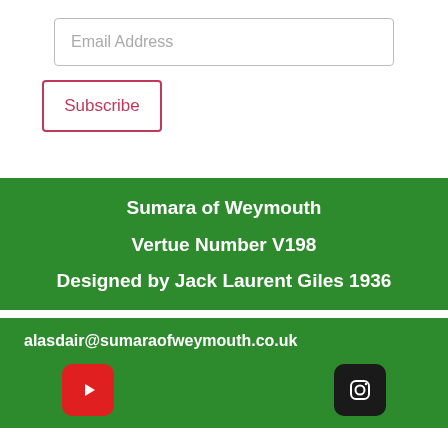Email Address
Subscribe
Sumara of Weymouth
Vertue Number V198
Designed by Jack Laurent Giles 1936
alasdair@sumaraofweymouth.co.uk
[Figure (logo): YouTube icon (red rounded square) and Instagram icon (black rounded square) in footer]